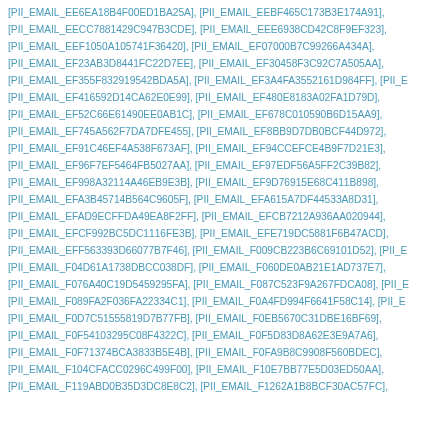[PII_EMAIL_EE6EA18B4F00ED1BA25A], [PII_EMAIL_EEBF465C173B3E174A91], [PII_EMAIL_EECC7881429C947B3CDE], [PII_EMAIL_EEE6938CD42C8F9EF323], [PII_EMAIL_EEF1050A105741F36420], [PII_EMAIL_EF07000B7C99266A434A], [PII_EMAIL_EF23AB3D8441FC22D7EE], [PII_EMAIL_EF30458F3C92C7A505AA], [PII_EMAIL_EF355F832919542BDA5A], [PII_EMAIL_EF3A4FA3552161D984FF], [PII_E [PII_EMAIL_EF416592D14CA62E0E99], [PII_EMAIL_EF480E8183A02FA1D79D], [PII_EMAIL_EF52C66E61490EE0AB1C], [PII_EMAIL_EF678C010590B6D15AA9], [PII_EMAIL_EF745A562F7DA7DFE455], [PII_EMAIL_EF8BB9D7DB0BCF44D972], [PII_EMAIL_EF91C46EF4A538F673AF], [PII_EMAIL_EF94CCEFCE4B9F7D21E3], [PII_EMAIL_EF96F7EF5464FB5027AA], [PII_EMAIL_EF97EDF56A5FF2C39B82], [PII_EMAIL_EF998A32114A46EB9E3B], [PII_EMAIL_EF9D76915E68C411B898], [PII_EMAIL_EFA3B45714B564C9605F], [PII_EMAIL_EFA615A7DF44533A8D31], [PII_EMAIL_EFAD9ECFFDA49EA8F2FF], [PII_EMAIL_EFCB7212A936AA020944], [PII_EMAIL_EFCF992BC5DC1116FE3B], [PII_EMAIL_EFE719DC5881F6B47ACD], [PII_EMAIL_EFF563393D66077B7F46], [PII_EMAIL_F009CB223B6C69101D52], [PII_E [PII_EMAIL_F04D61A1738DBCC038DF], [PII_EMAIL_F060DE0AB21E1AD737E7], [PII_EMAIL_F076A40C19D5459295FA], [PII_EMAIL_F087C523F9A267FDCA08], [PII_E [PII_EMAIL_F089FA2F036FA22334C1], [PII_EMAIL_F0A4FD994F6641F58C14], [PII_E [PII_EMAIL_F0D7C51555819D7B77FB], [PII_EMAIL_F0EB5670C31DBE16BF69], [PII_EMAIL_F0F54103295C08F4322C], [PII_EMAIL_F0F5D83D8A62E3E9A7A6], [PII_EMAIL_F0F71374BCA3833B5E4B], [PII_EMAIL_F0FA9B8C9908F560BDEC], [PII_EMAIL_F104CFACC0296C499F00], [PII_EMAIL_F10E7BB77E5D03ED50AA], [PII_EMAIL_F119ABD0B35D3DC8E8C2], [PII_EMAIL_F1262A1B8BCF30AC57FC],